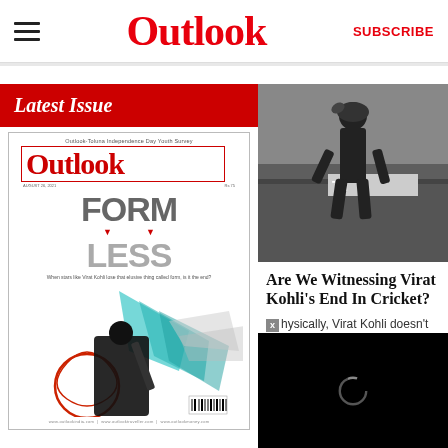Outlook | SUBSCRIBE
[Figure (screenshot): Outlook magazine latest issue cover showing FORM LESS headline with cricket batsman illustration]
Latest Issue
[Figure (photo): Black and white photo of Virat Kohli walking off cricket field looking dejected]
Are We Witnessing Virat Kohli's End In Cricket?
Physically, Virat Kohli doesn't